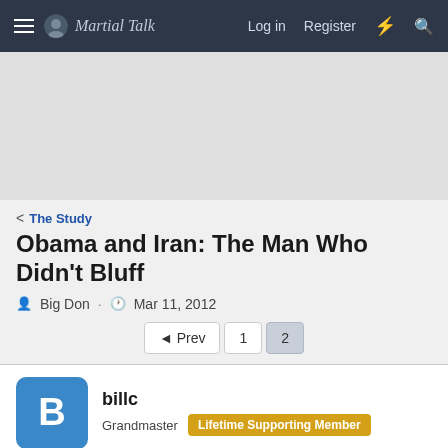Martial Talk — Log in   Register
[Figure (other): Gray advertisement banner area]
< The Study
Obama and Iran: The Man Who Didn't Bluff
Big Don · Mar 11, 2012
◄ Prev  1  2
billc
Grandmaster  Lifetime Supporting Member
Mar 12, 2012  #21
As a good opening gesture, to show we mean them no harm,